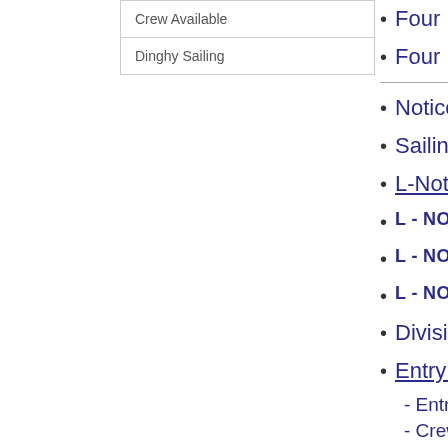| Crew Available |
| Dinghy Sailing |
Four Pea
Four Pea
Notice of
Sailing In
L-Notice
L - NOTICE T
L - NOTICE T
L - NOTICE T
Divisions:
Entry For
- Entry Fo
- Crew Li